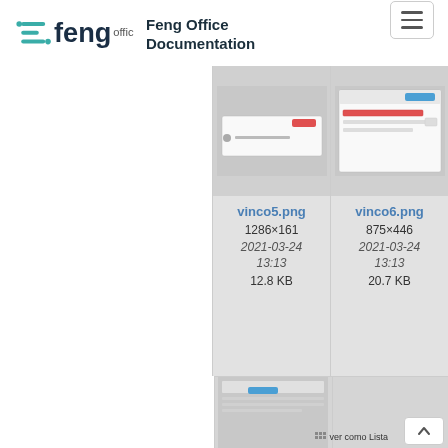[Figure (logo): Feng Office logo with teal icon and dark blue 'feng office' wordmark]
Feng Office Documentation
[Figure (screenshot): Thumbnail of vinco5.png screenshot]
vinco5.png
1286×161
2021-03-24 13:13
12.8 KB
[Figure (screenshot): Thumbnail of vinco6.png screenshot]
vinco6.png
875×446
2021-03-24 13:13
20.7 KB
[Figure (screenshot): Partial thumbnail of another file]
[Figure (screenshot): Partial thumbnail with ver como Lista button]